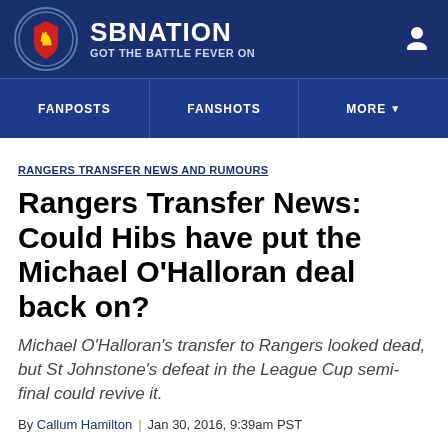SBNATION | GOT THE BATTLE FEVER ON
FANPOSTS | FANSHOTS | MORE
RANGERS TRANSFER NEWS AND RUMOURS
Rangers Transfer News: Could Hibs have put the Michael O'Halloran deal back on?
Michael O'Halloran's transfer to Rangers looked dead, but St Johnstone's defeat in the League Cup semi-final could revive it.
By Callum Hamilton | Jan 30, 2016, 9:39am PST